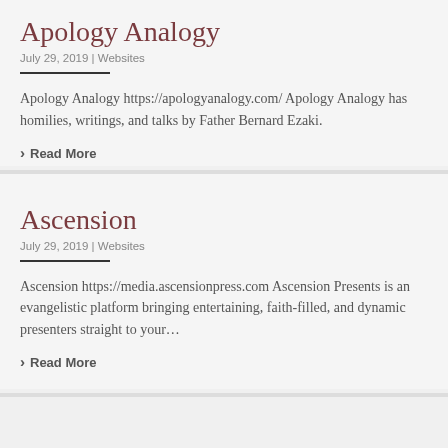Apology Analogy
July 29, 2019 | Websites
Apology Analogy https://apologyanalogy.com/ Apology Analogy has homilies, writings, and talks by Father Bernard Ezaki.
› Read More
Ascension
July 29, 2019 | Websites
Ascension https://media.ascensionpress.com Ascension Presents is an evangelistic platform bringing entertaining, faith-filled, and dynamic presenters straight to your…
› Read More